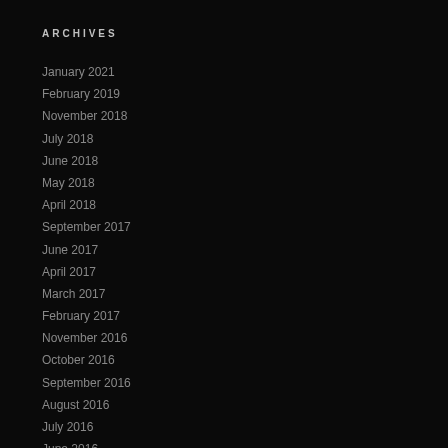ARCHIVES
January 2021
February 2019
November 2018
July 2018
June 2018
May 2018
April 2018
September 2017
June 2017
April 2017
March 2017
February 2017
November 2016
October 2016
September 2016
August 2016
July 2016
June 2016
May 2016
April 2016
January 2016